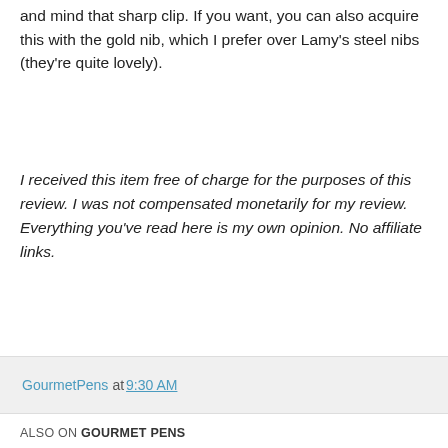and mind that sharp clip. If you want, you can also acquire this with the gold nib, which I prefer over Lamy's steel nibs (they're quite lovely).
I received this item free of charge for the purposes of this review. I was not compensated monetarily for my review. Everything you've read here is my own opinion. No affiliate links.
GourmetPens at 9:30 AM
ALSO ON GOURMET PENS
[Figure (screenshot): Two blog post cards side by side. Left card shows '...r ago • 2 comments' and title 'Gourmet Pens: Montblanc'. Right card shows '2 years ago • 1 comment' and title 'Gourmet Pens: Lamy Safari'. Navigation arrows on left and right sides.]